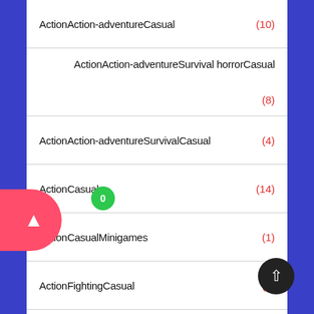ActionAction-adventureCasual (10)
ActionAction-adventureSurvival horrorCasual (8)
ActionAction-adventureSurvivalCasual (4)
ActionCasual (14)
ActionCasualMinigames (1)
ActionFightingCasual (3)
ActionIO gameCasual (...)
ActionPlatf... (...)